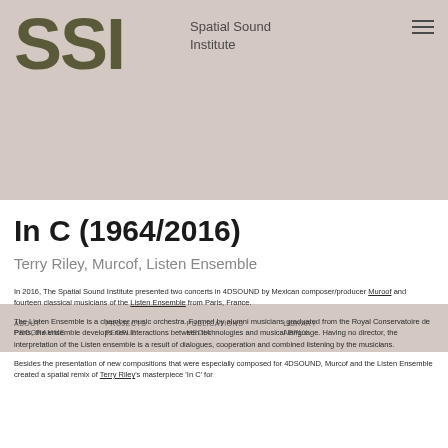SSI — Spatial Sound Institute
ABOUT  PROGRAMME  PROJECTS  PEOPLE  PUBLICATIONS  MEDIA  LIBRARY  APPLY
In C (1964/2016)
Terry Riley, Murcof, Listen Ensemble
In 2016, The Spatial Sound Institute presented two concerts in 4DSOUND by Mexican composer/producer Muroof and fourteen classical musicians of the Listen Ensemble from Paris, France.
The Listen Ensemble is a chamber music orchestra. Formed by alumni musicians graduated from the Royal Conservatoire de Paris, the ensemble develops new interactions between technologies and musical language. Having no director, the interpretation of the Listen ensemble is a result of dialogues, cooperation and combined listening by the musicians.
Besides the presentation of new compositions that were especially composed for 4DSOUND, Murcof and the Listen Ensemble created a spatial remix of Terry Riley's masterpiece 'In C' for